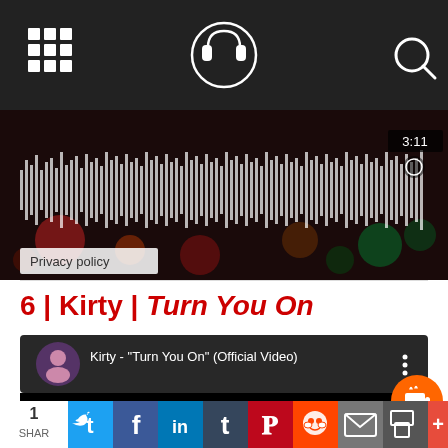[Figure (screenshot): Dark navigation bar with grid icon on left, circular logo in center, search icon on right]
[Figure (screenshot): Audio waveform visualizer showing music playback with timestamp 3:11 and Privacy policy label in bottom left corner]
6 | Kirty | Turn You On
[Figure (screenshot): YouTube video embed showing Kirty - "Turn You On" (Official Video) with a woman in red hood with face paint, YouTube play button overlay, and coffee cup icon in bottom right]
[Figure (screenshot): Social sharing bar at bottom showing share count 1, Twitter, Facebook, LinkedIn, Tumblr, Pinterest, Reddit, Pocket, Skull icon, Mail, Print, and More buttons]